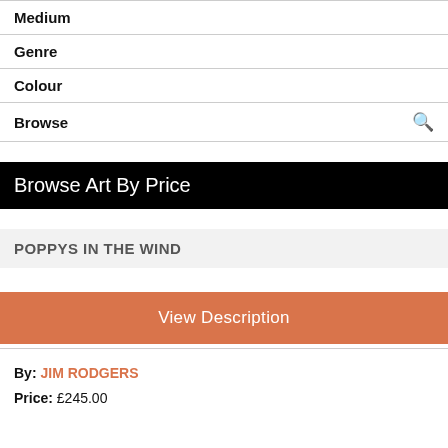| Medium |
| Genre |
| Colour |
| Browse |
Browse Art By Price
POPPYS IN THE WIND
View Description
By: JIM RODGERS
Price: £245.00